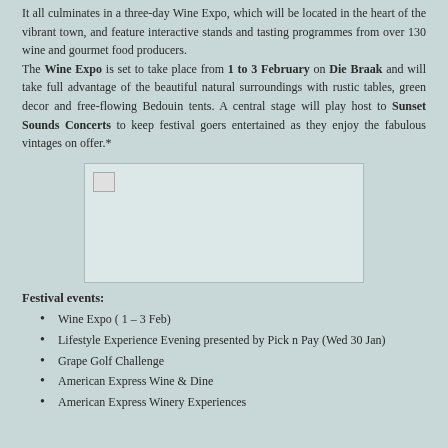It all culminates in a three-day Wine Expo, which will be located in the heart of the vibrant town, and feature interactive stands and tasting programmes from over 130 wine and gourmet food producers. The Wine Expo is set to take place from 1 to 3 February on Die Braak and will take full advantage of the beautiful natural surroundings with rustic tables, green decor and free-flowing Bedouin tents. A central stage will play host to Sunset Sounds Concerts to keep festival goers entertained as they enjoy the fabulous vintages on offer.*
[Figure (photo): Image placeholder (broken image icon visible in top-left corner)]
Festival events:
Wine Expo ( 1 – 3 Feb)
Lifestyle Experience Evening presented by Pick n Pay (Wed 30 Jan)
Grape Golf Challenge
American Express Wine & Dine
American Express Winery Experiences